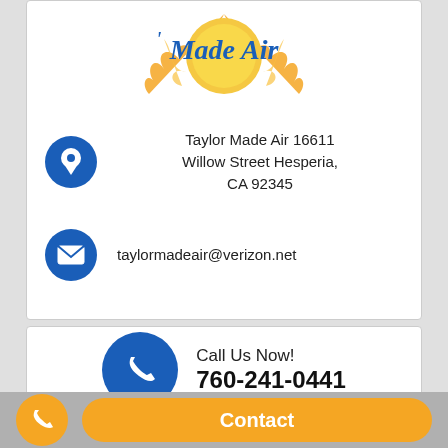[Figure (logo): Taylor Made Air logo with sun design in yellow and blue]
Taylor Made Air 16611 Willow Street Hesperia, CA 92345
taylormadeair@verizon.net
Call Us Now! 760-241-0441
Contact